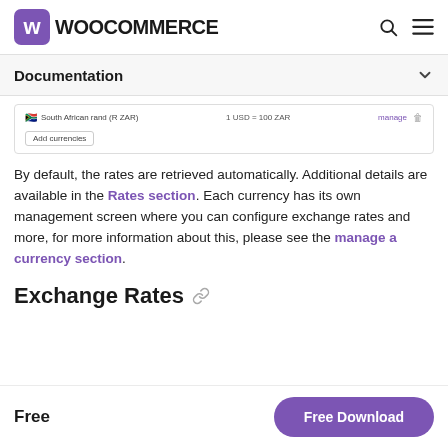WooCommerce
Documentation
[Figure (screenshot): Screenshot of WooCommerce currency settings showing South African rand (R ZAR) with rate 1 USD = 100 ZAR and a Manage button, plus an Add currencies button]
By default, the rates are retrieved automatically. Additional details are available in the Rates section. Each currency has its own management screen where you can configure exchange rates and more, for more information about this, please see the manage a currency section.
Exchange Rates
Free
Free Download